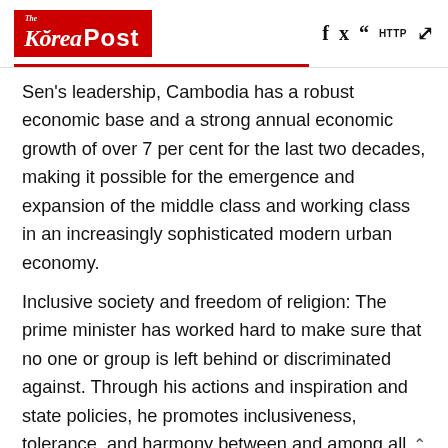The Korea Post
Sen's leadership, Cambodia has a robust economic base and a strong annual economic growth of over 7 per cent for the last two decades, making it possible for the emergence and expansion of the middle class and working class in an increasingly sophisticated modern urban economy.
Inclusive society and freedom of religion: The prime minister has worked hard to make sure that no one or group is left behind or discriminated against. Through his actions and inspiration and state policies, he promotes inclusiveness, tolerance, and harmony between and among all social groups in Cambodia. He promotes gender equality and the important roles